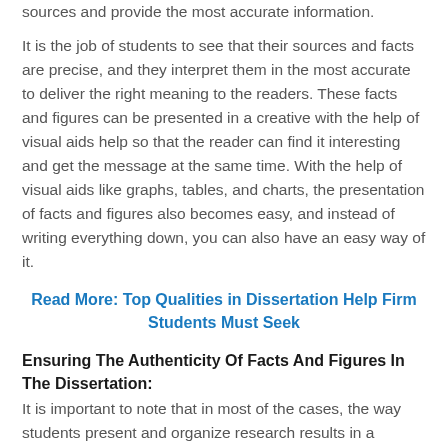sources and provide the most accurate information.
It is the job of students to see that their sources and facts are precise, and they interpret them in the most accurate to deliver the right meaning to the readers. These facts and figures can be presented in a creative with the help of visual aids help so that the reader can find it interesting and get the message at the same time. With the help of visual aids like graphs, tables, and charts, the presentation of facts and figures also becomes easy, and instead of writing everything down, you can also have an easy way of it.
Read More: Top Qualities in Dissertation Help Firm Students Must Seek
Ensuring The Authenticity Of Facts And Figures In The Dissertation:
It is important to note that in most of the cases, the way students present and organize research results in a dissertation can vary widely. This is mainly due to the manner and nature of the investigation, the methodology as well as the standards that students are using to conduct